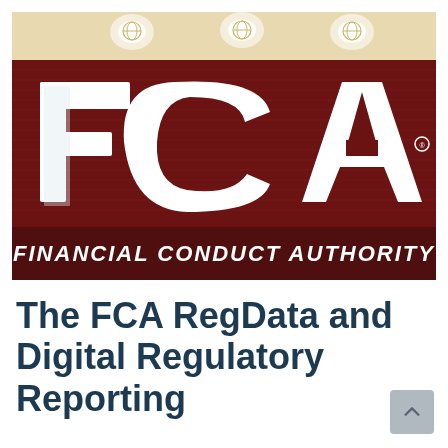[Figure (photo): Photograph of the FCA (Financial Conduct Authority) logo sign — large white 3D letters 'FCA' mounted on a dark red/maroon ridged wall, with 'FINANCIAL CONDUCT AUTHORITY' written below in white italic lettering. Overhead ceiling lights visible at the top.]
The FCA RegData and Digital Regulatory Reporting